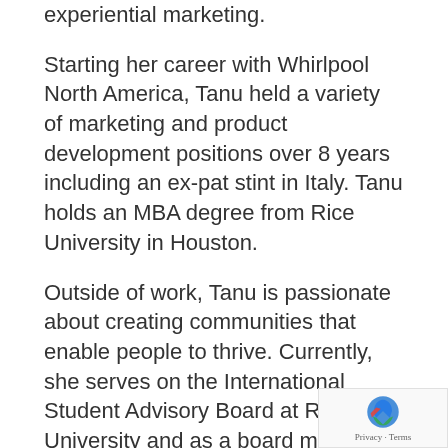experiential marketing.
Starting her career with Whirlpool North America, Tanu held a variety of marketing and product development positions over 8 years including an ex-pat stint in Italy. Tanu holds an MBA degree from Rice University in Houston.
Outside of work, Tanu is passionate about creating communities that enable people to thrive. Currently, she serves on the International Student Advisory Board at Rice University and as a board member for the South Asian Women’s Professional Network.
As a public speaker, Tanu’s topics include launching and scaling a challenger brand an standing out in a crowded market through